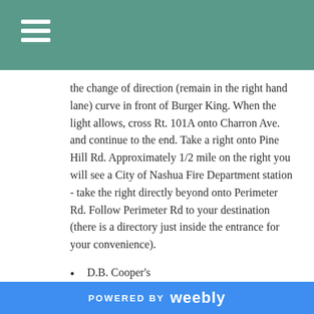the change of direction (remain in the right hand lane) curve in front of Burger King. When the light allows, cross Rt. 101A onto Charron Ave. and continue to the end. Take a right onto Pine Hill Rd. Approximately 1/2 mile on the right you will see a City of Nashua Fire Department station - take the right directly beyond onto Perimeter Rd. Follow Perimeter Rd to your destination (there is a directory just inside the entrance for your convenience).
D.B. Cooper's
15 Spitbrook Rd, Nashua -- 888-7746
Skyview Café & Brewery
385 East Dunstable Road, Nashua -- 897-0005
Joe's American Bar & Grill (7/2009) 3.60
310 Daniel Webster Highway, Nashua -- 891-2060
POWERED BY weebly